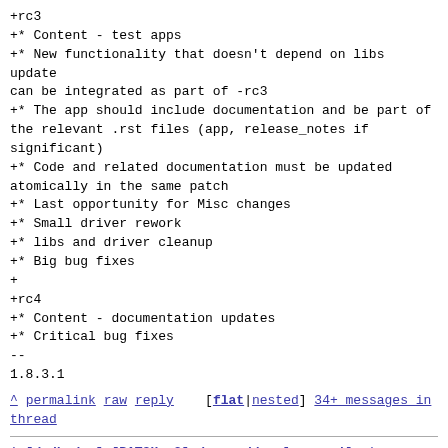+rc3
+* Content - test apps
+* New functionality that doesn't depend on libs update
can be integrated as part of -rc3
+* The app should include documentation and be part of
the relevant .rst files (app, release_notes if
significant)
+* Code and related documentation must be updated
atomically in the same patch
+* Last opportunity for Misc changes
+* Small driver rework
+* libs and driver cleanup
+* Big bug fixes
+
+rc4
+* Content - documentation updates
+* Critical bug fixes
--
1.8.3.1
^ permalink raw reply  [flat|nested] 34+ messages in thread
* [dpdk-dev] [PATCH v2] doc: add release milestones definition
  2021-01-10 18:44 [dpdk-dev] [PATCH] doc: add release milestones definition Asaf Penso
@ 2021-01-12 13:30 ` Michael Baum